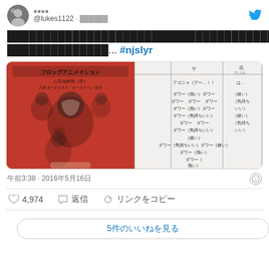[Figure (screenshot): Twitter/X social media post screenshot showing a tweet from @lukes1122 with Japanese text and hashtag #njslyr, containing a photo of a manga/anime book cover (red background with character illustrations) and a script page with Japanese dialogue text. Posted at 3:38 on 2016/5/16. Interaction counts: 4,974 likes, reply count, and share option shown.]
@lukes1122 · ██████
█████████████████████████████████████████████████████████... #njslyr
午前3:38 · 2016年5月16日
♡  4,974    ◯  返信   ↗  リンクをコピー
5件のいいねを見る